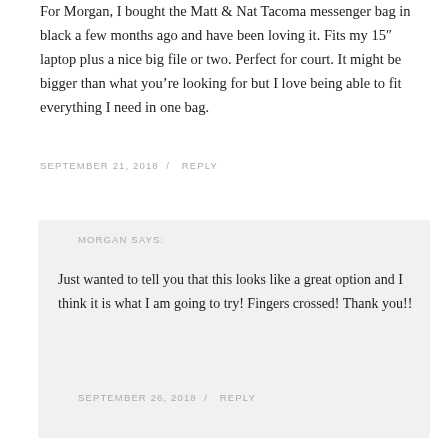For Morgan, I bought the Matt & Nat Tacoma messenger bag in black a few months ago and have been loving it. Fits my 15″ laptop plus a nice big file or two. Perfect for court. It might be bigger than what you're looking for but I love being able to fit everything I need in one bag.
SEPTEMBER 21, 2018 / REPLY
MORGAN SAYS:
Just wanted to tell you that this looks like a great option and I think it is what I am going to try! Fingers crossed! Thank you!!
SEPTEMBER 26, 2018 / REPLY